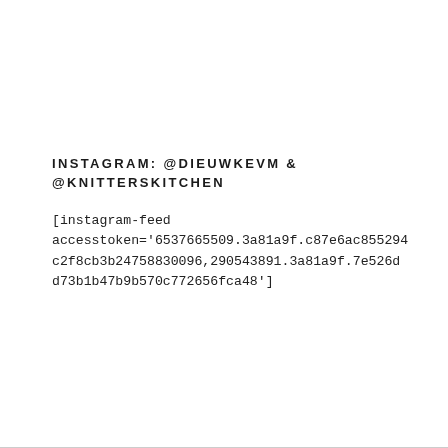INSTAGRAM: @DIEUWKEVM & @KNITTERSKITCHEN
[instagram-feed accesstoken='6537665509.3a81a9f.c87e6ac855294c2f8cb3b24758830096,290543891.3a81a9f.7e526dd73b1b47b9b570c772656fca48']